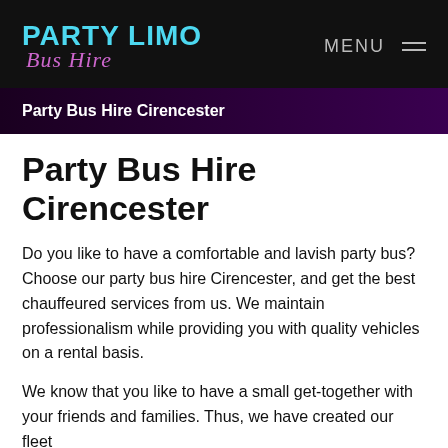[Figure (logo): Party Limo Bus Hire logo with cyan bold uppercase text for PARTY LIMO and purple italic cursive text for Bus Hire on black background, with MENU hamburger icon on the right]
Party Bus Hire Cirencester
Party Bus Hire Cirencester
Do you like to have a comfortable and lavish party bus? Choose our party bus hire Cirencester, and get the best chauffeured services from us. We maintain professionalism while providing you with quality vehicles on a rental basis.
We know that you like to have a small get-together with your friends and families. Thus, we have created our fleet